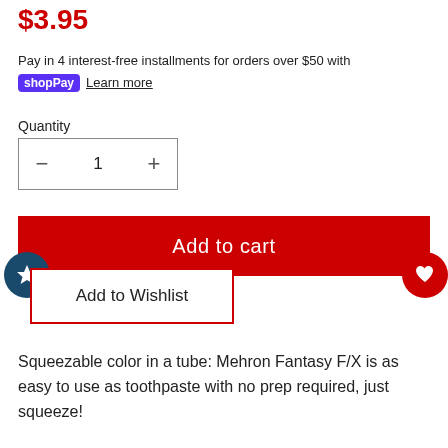$3.95
Pay in 4 interest-free installments for orders over $50 with shop Pay Learn more
Quantity
1
Add to cart
Add to Wishlist
Squeezable color in a tube: Mehron Fantasy F/X is as easy to use as toothpaste with no prep required, just squeeze!